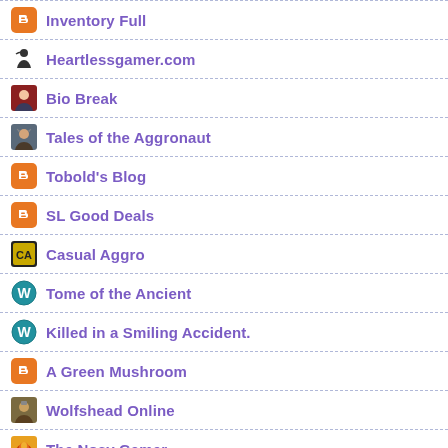Inventory Full
Heartlessgamer.com
Bio Break
Tales of the Aggronaut
Tobold's Blog
SL Good Deals
Casual Aggro
Tome of the Ancient
Killed in a Smiling Accident.
A Green Mushroom
Wolfshead Online
The Nosy Gamer
Dragonchasers
Celebrating Life!